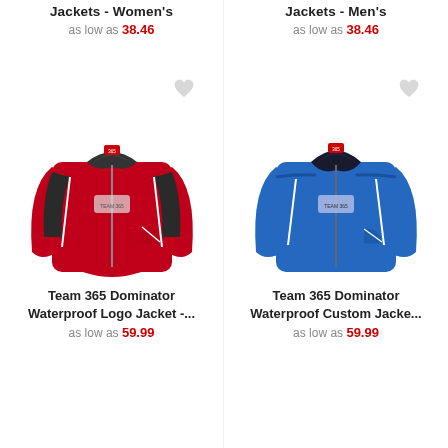Jackets - Women's
as low as 38.46
Jackets - Men's
as low as 38.46
[Figure (photo): Red Team 365 Dominator Waterproof jacket with black accents and white zipper trim, with logo on chest]
[Figure (photo): Blue Team 365 Dominator Waterproof jacket with black accents and white zipper trim, with logo on chest]
Team 365 Dominator Waterproof Logo Jacket -...
as low as 59.99
Team 365 Dominator Waterproof Custom Jacke...
as low as 59.99